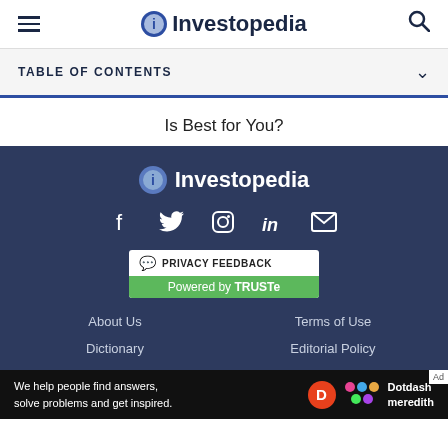Investopedia
TABLE OF CONTENTS
Is Best for You?
Investopedia
About Us | Terms of Use | Dictionary | Editorial Policy
We help people find answers, solve problems and get inspired. Dotdash meredith